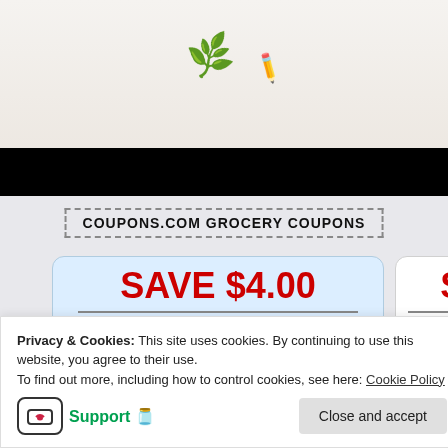[Figure (screenshot): Top decorative area with leaf and pencil emoji icons on light beige background, followed by black banner strip]
COUPONS.COM GROCERY COUPONS
[Figure (screenshot): Coupon card 1: SAVE $4.00 on Any ONE (1) Alaway Antihistamine Eye Drop Product, blue gradient background]
[Figure (screenshot): Coupon card 2 (partially visible): SAV... on Any ONE... Preservative-free P..., white background]
Privacy & Cookies: This site uses cookies. By continuing to use this website, you agree to their use.
To find out more, including how to control cookies, see here: Cookie Policy
Support 🫙
Close and accept